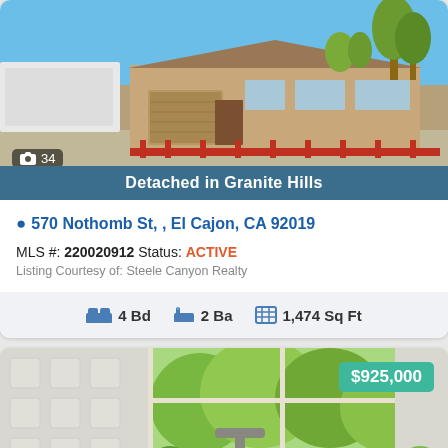[Figure (photo): Exterior photo of a single-story house with a blue sky, palm trees, red fence, and a white trailer on the left. A camera icon badge shows '34' photos.]
Detached in Granite Hills
570 Nothomb St, , El Cajon, CA 92019
MLS #: 220020912 Status: ACTIVE
Listing Courtesy of: Steele Canyon Realty
4 Bd  2 Ba  1,474 Sq Ft
[Figure (photo): Interior kitchen photo showing a sink with faucet, plants on the windowsill, and a green garden view through the window. Price badge shows $925,000.]